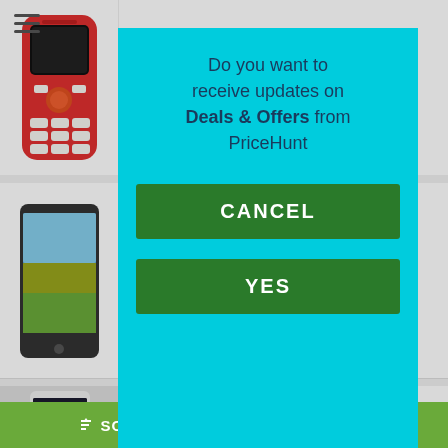[Figure (screenshot): Mobile phone product listing page showing Nokia 3310 phone image on left, with product specifications partially visible on right. Below it another phone listing and Nokia E1 listing.]
[Figure (infographic): Modal popup dialog with cyan/turquoise background asking 'Do you want to receive updates on Deals & Offers from PriceHunt' with CANCEL and YES buttons]
Do you want to receive updates on Deals & Offers from PriceHunt
CANCEL
YES
Android KitKat 4.4
256 MB Ram
3.5 Inch Screen
3.2 Megapixel Rear Camera
Nokia E1
expected price of ₹9,999
Upcoming
Android Os, V7.0 (nougat)
↑ SORT    ▼ FILTER